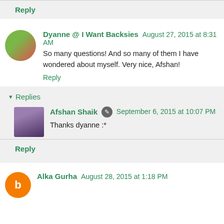Reply
Dyanne @ I Want Backsies  August 27, 2015 at 8:31 AM
So many questions! And so many of them I have wondered about myself. Very nice, Afshan!
Reply
Replies
Afshan Shaik  September 6, 2015 at 10:07 PM
Thanks dyanne :*
Reply
Alka Gurha  August 28, 2015 at 1:18 PM